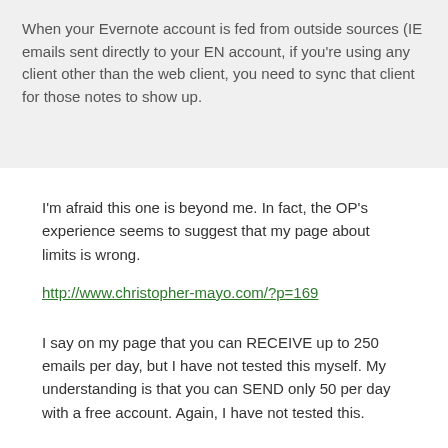When your Evernote account is fed from outside sources (IE emails sent directly to your EN account, if you're using any client other than the web client, you need to sync that client for those notes to show up.
I'm afraid this one is beyond me. In fact, the OP's experience seems to suggest that my page about limits is wrong.
http://www.christopher-mayo.com/?p=169
I say on my page that you can RECEIVE up to 250 emails per day, but I have not tested this myself. My understanding is that you can SEND only 50 per day with a free account. Again, I have not tested this.
My advice with emails? As long as we are not talking about ones with